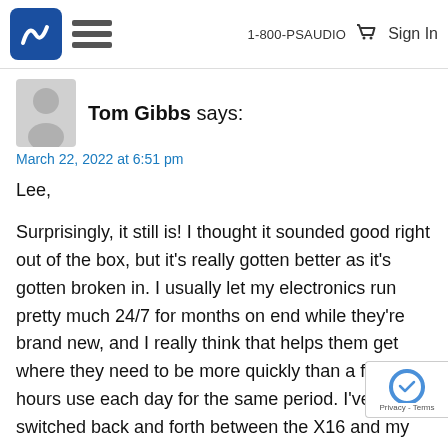1-800-PSAUDIO  Sign In
Tom Gibbs says:
March 22, 2022 at 6:51 pm
Lee,

Surprisingly, it still is! I thought it sounded good right out of the box, but it's really gotten better as it's gotten broken in. I usually let my electronics run pretty much 24/7 for months on end while they're brand new, and I really think that helps them get where they need to be more quickly than a few hours use each day for the same period. I've switched back and forth between the X16 and my PS Audio DAC repeatedly since the X16 showed up in November, and I hate to say it, but the X16 just sounds more detailed, more